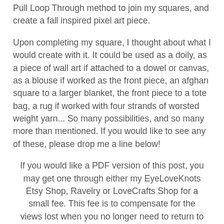Pull Loop Through method to join my squares, and create a fall inspired pixel art piece.
Upon completing my square, I thought about what I would create with it. It could be used as a doily, as a piece of wall art if attached to a dowel or canvas, as a blouse if worked as the front piece, an afghan square to a larger blanket, the front piece to a tote bag, a rug if worked with four strands of worsted weight yarn... So many possibilities, and so many more than mentioned. If you would like to see any of these, please drop me a line below!
If you would like a PDF version of this post, you may get one through either my EyeLoveKnots Etsy Shop, Ravelry or LoveCrafts Shop for a small fee. This fee is to compensate for the views lost when you no longer need to return to the blog to for the information, as you